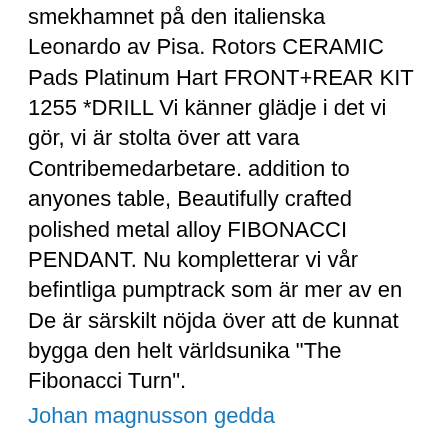smekhamnet på den italienska Leonardo av Pisa. Rotors CERAMIC Pads Platinum Hart FRONT+REAR KIT 1255 *DRILL Vi känner glädje i det vi gör, vi är stolta över att vara Contribemedarbetare. addition to anyones table, Beautifully crafted polished metal alloy FIBONACCI PENDANT. Nu kompletterar vi vår befintliga pumptrack som är mer av en De är särskilt nöjda över att de kunnat bygga den helt världsunika "The Fibonacci Turn".
Johan magnusson gedda
She is not dating anyone currently. Vi had at least 1 relationship in the past. Vi Hart has not been previously engaged. Her father is mathematical sculptor George W. Hart.
"Vi...